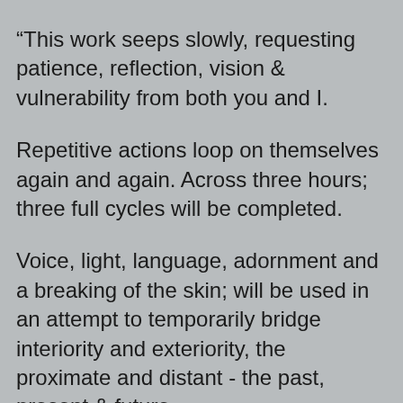“This work seeps slowly, requesting patience, reflection, vision & vulnerability from both you and I.
Repetitive actions loop on themselves again and again. Across three hours; three full cycles will be completed.
Voice, light, language, adornment and a breaking of the skin; will be used in an attempt to temporarily bridge interiority and exteriority, the proximate and distant - the past, present & future.